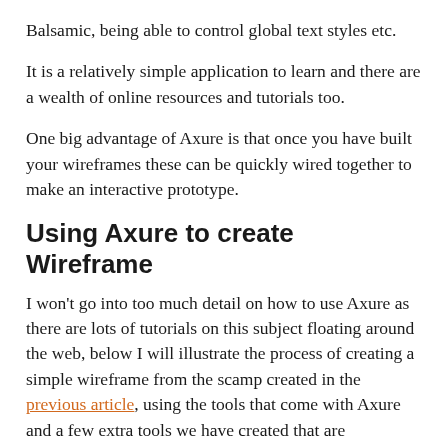Balsamic, being able to control global text styles etc.
It is a relatively simple application to learn and there are a wealth of online resources and tutorials too.
One big advantage of Axure is that once you have built your wireframes these can be quickly wired together to make an interactive prototype.
Using Axure to create Wireframe
I won’t go into too much detail on how to use Axure as there are lots of tutorials on this subject floating around the web, below I will illustrate the process of creating a simple wireframe from the scamp created in the previous article, using the tools that come with Axure and a few extra tools we have created that are SharePoint specific (which can be downloaded at the end of this document).